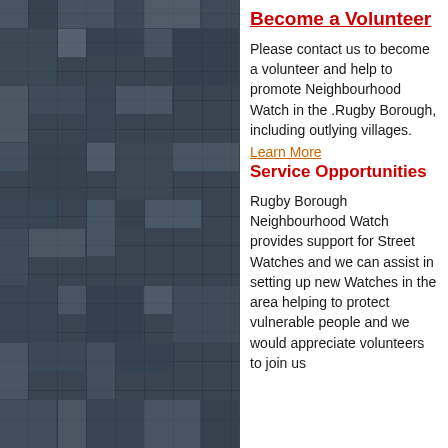[Figure (illustration): Dark mosaic tile pattern background on the left half of the page]
Become a Volunteer
Please contact us to become a volunteer and help to promote Neighbourhood Watch in the .Rugby Borough, including outlying villages.
Learn More
Service Opportunities
Rugby Borough Neighbourhood Watch provides support for Street Watches and we can assist in setting up new Watches in the area helping to protect vulnerable people and we would appreciate volunteers to join us